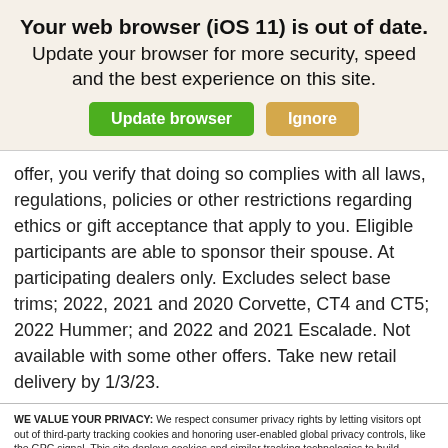Your web browser (iOS 11) is out of date. Update your browser for more security, speed and the best experience on this site.
offer, you verify that doing so complies with all laws, regulations, policies or other restrictions regarding ethics or gift acceptance that apply to you. Eligible participants are able to sponsor their spouse. At participating dealers only. Excludes select base trims; 2022, 2021 and 2020 Corvette, CT4 and CT5; 2022 Hummer; and 2022 and 2021 Escalade. Not available with some other offers. Take new retail delivery by 1/3/23.
WE VALUE YOUR PRIVACY: We respect consumer privacy rights by letting visitors opt out of third-party tracking cookies and honoring user-enabled global privacy controls, like the GPC signal. This site deploys cookies and similar tracking technologies to build profiles, serve ads, and personalize your experience across websites. By pressing accept, you consent to the use of such cookies. To manage your privacy rights or view the categories of personal information we collect and the purposes for which the information is used, click here.
Language: English  Powered by ComplyAuto